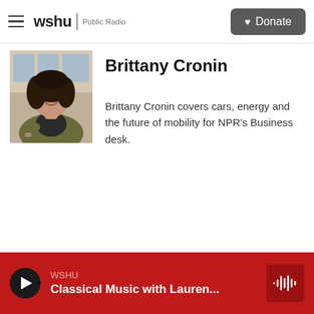wshu | Public Radio  Donate
[Figure (photo): Headshot photo of Brittany Cronin, a woman with dark curly hair wearing a green/olive wrap cardigan, smiling, seated outdoors]
Brittany Cronin
Brittany Cronin covers cars, energy and the future of mobility for NPR's Business desk.
WSHU  Classical Music with Lauren...